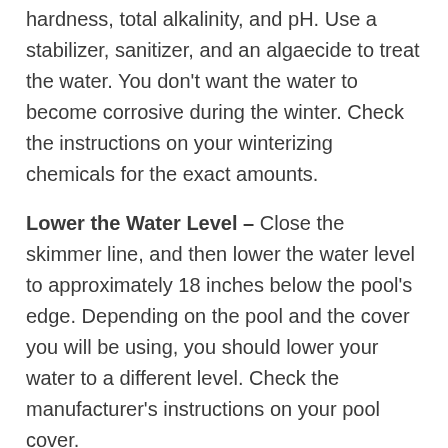hardness, total alkalinity, and pH. Use a stabilizer, sanitizer, and an algaecide to treat the water. You don't want the water to become corrosive during the winter. Check the instructions on your winterizing chemicals for the exact amounts.
Lower the Water Level – Close the skimmer line, and then lower the water level to approximately 18 inches below the pool's edge. Depending on the pool and the cover you will be using, you should lower your water to a different level. Check the manufacturer's instructions on your pool cover.
Drain the Pipes – Follow your manufacturer's instruction to drain water out of all the piping. Drain as much water as you can from the heater and filter and add nontoxic antifreeze. This is very different